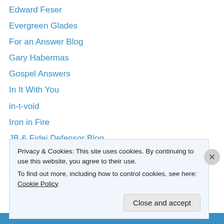Edward Feser
Evergreen Glades
For an Answer Blog
Gary Habermas
Gospel Answers
In It With You
in-t-void
Iron in Fire
JB & Fidei Defensor Blog
Labarum
Lex Communus
Lighthouse/Searchlight Church
Manwe Sulimo
Privacy & Cookies: This site uses cookies. By continuing to use this website, you agree to their use.
To find out more, including how to control cookies, see here: Cookie Policy